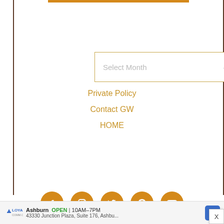[Figure (screenshot): Select Month dropdown input box with golden border]
Private Policy
Contact GW
HOME
Connect With Us
[Figure (infographic): Five social media icons in orange circles: Facebook, Instagram, Twitter, Pinterest, YouTube]
[Figure (infographic): Advertisement bar: Loyal logo, Ashburn OPEN 10AM-7PM, 43330 Junction Plaza Suite 176 Ashbu..., navigation arrow icon, X close button]